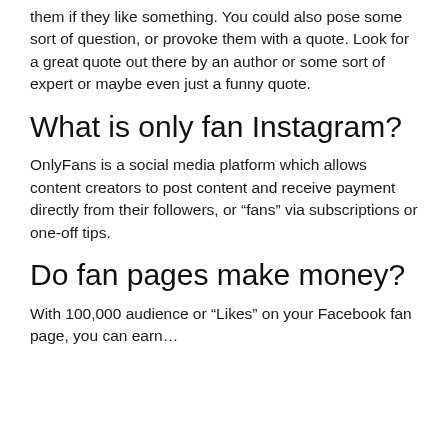them if they like something. You could also pose some sort of question, or provoke them with a quote. Look for a great quote out there by an author or some sort of expert or maybe even just a funny quote.
What is only fan Instagram?
OnlyFans is a social media platform which allows content creators to post content and receive payment directly from their followers, or “fans” via subscriptions or one-off tips.
Do fan pages make money?
With 100,000 audience or “Likes” on your Facebook fan page, you can earn…